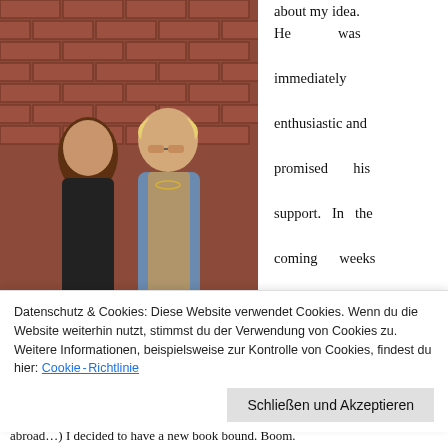[Figure (photo): Two people (a young woman with long brown hair in a black top, and a young man with blonde hair and sunglasses in a denim jacket) standing in front of a brick wall.]
about my idea. He was immediately enthusiastic and promised his support. In the coming weeks and months I figured out how the book might look best. After
Datenschutz & Cookies: Diese Website verwendet Cookies. Wenn du die Website weiterhin nutzt, stimmst du der Verwendung von Cookies zu.
Weitere Informationen, beispielsweise zur Kontrolle von Cookies, findest du hier: Cookie-Richtlinie
Schließen und Akzeptieren
abroad…) I decided to have a new book bound. Boom.